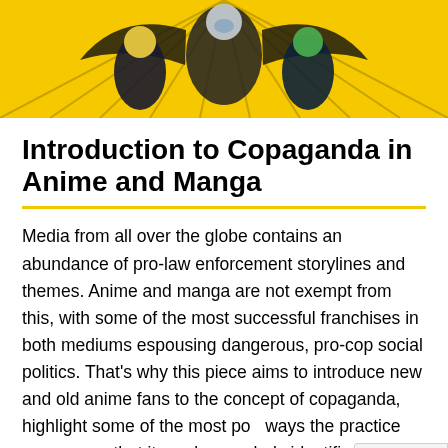[Figure (illustration): Anime hero characters on a yellow background — figures in dramatic poses with robotic/superhero costumes]
Introduction to Copaganda in Anime and Manga
Media from all over the globe contains an abundance of pro-law enforcement storylines and themes. Anime and manga are not exempt from this, with some of the most successful franchises in both mediums espousing dangerous, pro-cop social politics. That's why this piece aims to introduce new and old anime fans to the concept of copaganda, highlight some of the most po... ways the practice appears so that it can be regularly identified, and offer some direction on